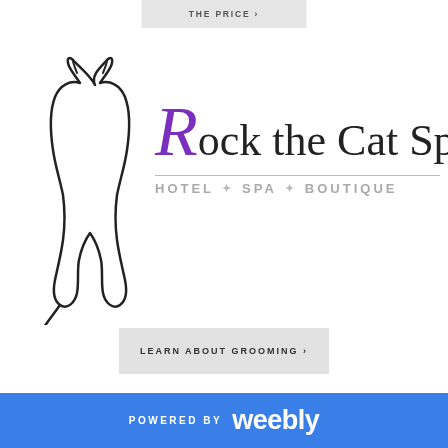[Figure (logo): Rock the Cat Spa logo with cat outline silhouette, stylized purple R, and subtitle HOTEL SPA BOUTIQUE]
LEARN ABOUT GROOMING ›
POWERED BY weebly